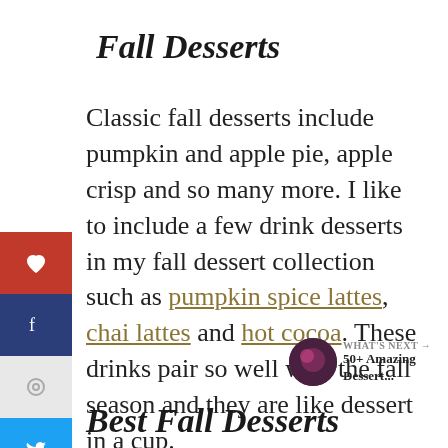Fall Desserts
Classic fall desserts include pumpkin and apple pie, apple crisp and so many more. I like to include a few drink desserts in my fall dessert collection such as pumpkin spice lattes, chai lattes and hot cocoa. These drinks pair so well with the fall season and they are like dessert in a cup.
Best Fall Desserts